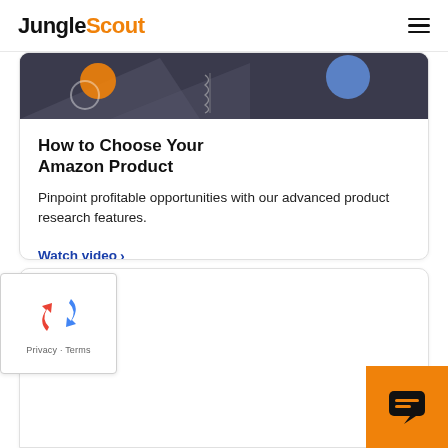JungleScout
[Figure (illustration): Dark banner image with geometric shapes and colored circles (orange, blue) on dark gray background]
How to Choose Your Amazon Product
Pinpoint profitable opportunities with our advanced product research features.
Watch video >
[Figure (screenshot): Empty white card area at bottom of page]
[Figure (logo): reCAPTCHA verification widget with Privacy and Terms text]
[Figure (other): Orange chat support button with speech bubble icon]